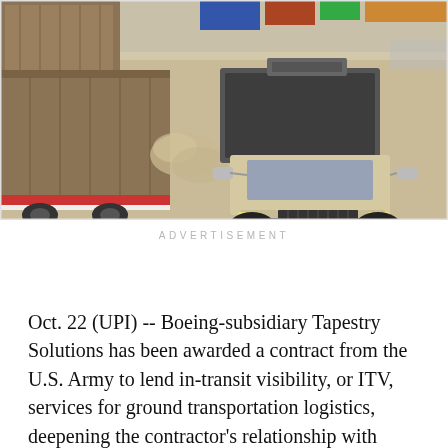[Figure (photo): Aerial/elevated view of a beige military-style utility truck driving on a dusty desert road near large shipping containers and trailers. Dust clouds visible beside trucks. Arid landscape with faint vehicles in background.]
ADVERTISEMENT
Oct. 22 (UPI) -- Boeing-subsidiary Tapestry Solutions has been awarded a contract from the U.S. Army to lend in-transit visibility, or ITV, services for ground transportation logistics, deepening the contractor's relationship with countries in the